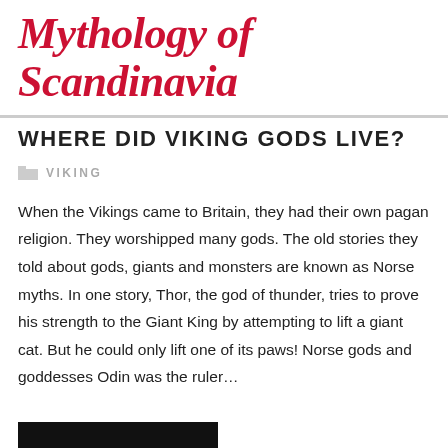Mythology of Scandinavia
WHERE DID VIKING GODS LIVE?
VIKING
When the Vikings came to Britain, they had their own pagan religion. They worshipped many gods. The old stories they told about gods, giants and monsters are known as Norse myths. In one story, Thor, the god of thunder, tries to prove his strength to the Giant King by attempting to lift a giant cat. But he could only lift one of its paws! Norse gods and goddesses Odin was the ruler…
[Figure (photo): Black bar at bottom of page, partial image cutoff]